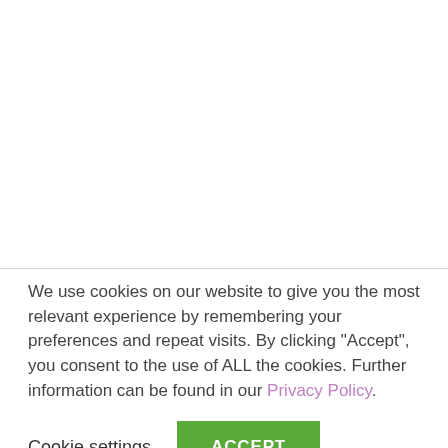We use cookies on our website to give you the most relevant experience by remembering your preferences and repeat visits. By clicking "Accept", you consent to the use of ALL the cookies. Further information can be found in our Privacy Policy.
Cookie settings  ACCEPT